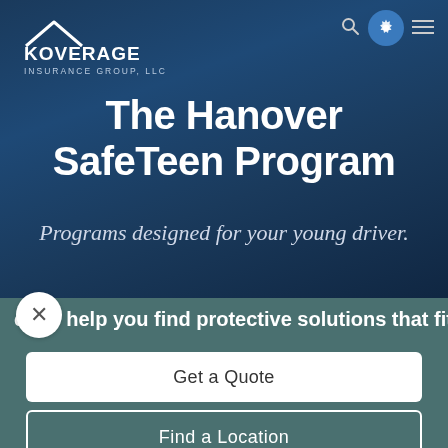[Figure (logo): Koverage Insurance Group LLC logo — house outline above the company name in white text on dark blue background]
The Hanover SafeTeen Program
Programs designed for your young driver.
et us help you find protective solutions that fit
Get a Quote
Find a Location